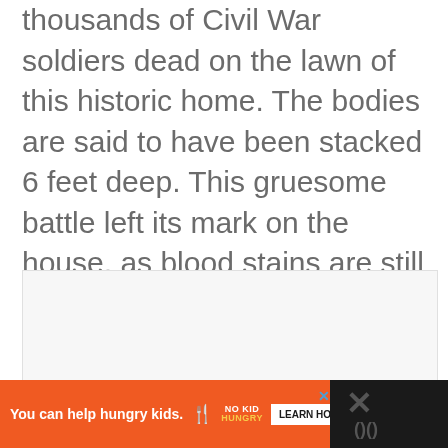thousands of Civil War soldiers dead on the lawn of this historic home. The bodies are said to have been stacked 6 feet deep. This gruesome battle left its mark on the house, as blood stains are still visible on the walls to this day.
[Figure (other): A light gray placeholder advertisement box]
You can help hungry kids. NO KID HUNGRY LEARN HOW